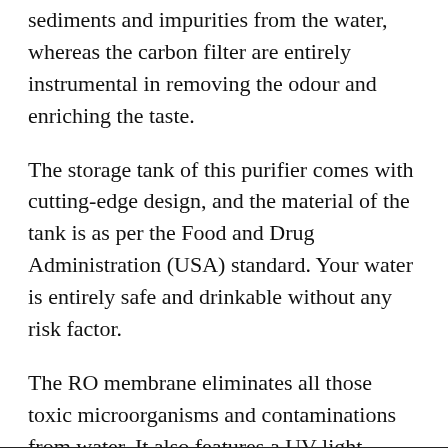sediments and impurities from the water, whereas the carbon filter are entirely instrumental in removing the odour and enriching the taste.
The storage tank of this purifier comes with cutting-edge design, and the material of the tank is as per the Food and Drug Administration (USA) standard. Your water is entirely safe and drinkable without any risk factor.
The RO membrane eliminates all those toxic microorganisms and contaminations from water. It also features a UV light within the water tank for treating the water under UV light and sterilizing for offering pure drinking water.